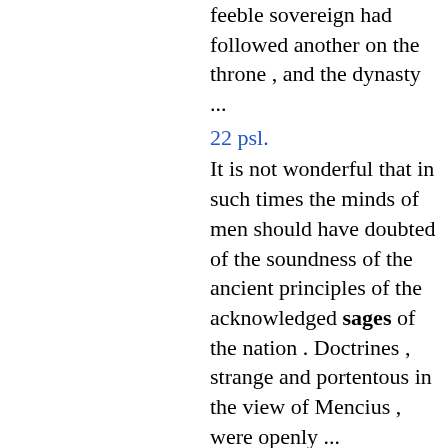feeble sovereign had followed another on the throne , and the dynasty ...
22 psl.
It is not wonderful that in such times the minds of men should have doubted of the soundness of the ancient principles of the acknowledged sages of the nation . Doctrines , strange and portentous in the view of Mencius , were openly ...
38 psl.
His disciples proclaimed their estimation of him as superior to all the sages whom China had ever seen . Before long this view of him took possession of the empire